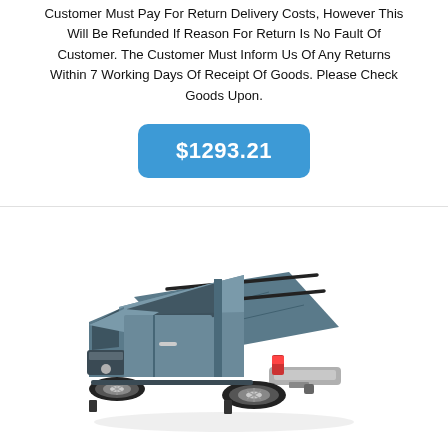Customer Must Pay For Return Delivery Costs, However This Will Be Refunded If Reason For Return Is No Fault Of Customer. The Customer Must Inform Us Of Any Returns Within 7 Working Days Of Receipt Of Goods. Please Check Goods Upon.
$1293.21
[Figure (photo): A silver/grey Dodge Ram pickup truck viewed from a rear three-quarter angle, showing a tonneau cover (folding hard cover) on the truck bed with black cross bars/rack system on top. The truck is shown on a white background.]